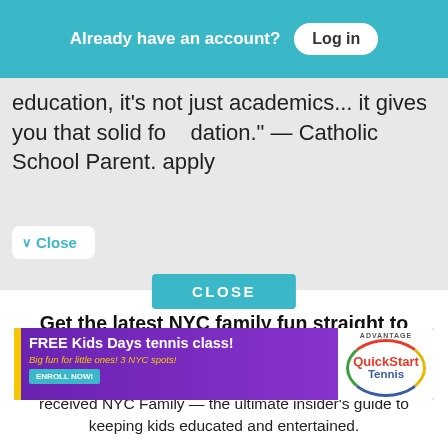Already have an account? Log in
education, it's not just academics... it gives you that solid foundation." — Catholic School Parent. apply
Close
Get the latest NYC family fun straight to your inbox!
Join the tens of thousands of New York families who received NYC Family — the ultimate insider's guide to keeping kids educated and entertained.
CLOSE
[Figure (screenshot): Advertisement banner for FREE Kids Days tennis class by Advantage QuickStart Tennis. Text: FREE Kids Days tennis class! Big fun for little ones! 3 NYC spots! ENROLL NOW!]
Sections  Camps  Calendar  Directory  Advertise